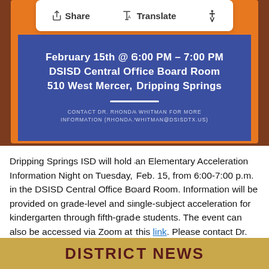[Figure (screenshot): Blue card with event details: February 15th @ 6:00 PM - 7:00 PM, DSISD Central Office Board Room, 510 West Mercer, Dripping Springs, with contact info for Dr. Rhonda Whitman. Toolbar overlay showing Share, Translate, and accessibility icons.]
Dripping Springs ISD will hold an Elementary Acceleration Information Night on Tuesday, Feb. 15, from 6:00-7:00 p.m. in the DSISD Central Office Board Room. Information will be provided on grade-level and single-subject acceleration for kindergarten through fifth-grade students. The event can also be accessed via Zoom at this link. Please contact Dr. Rhonda Whitman (rhonda.whitman@dsisdtx.us) for more information.
DISTRICT NEWS